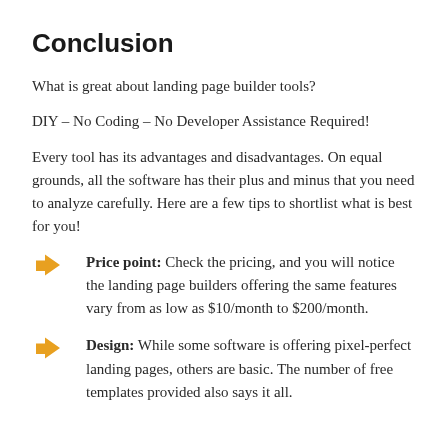Conclusion
What is great about landing page builder tools?
DIY – No Coding – No Developer Assistance Required!
Every tool has its advantages and disadvantages. On equal grounds, all the software has their plus and minus that you need to analyze carefully. Here are a few tips to shortlist what is best for you!
Price point: Check the pricing, and you will notice the landing page builders offering the same features vary from as low as $10/month to $200/month.
Design: While some software is offering pixel-perfect landing pages, others are basic. The number of free templates provided also says it all.